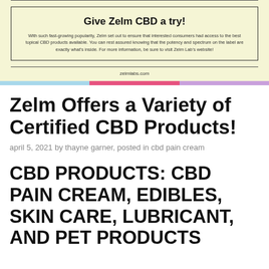[Figure (other): Advertisement banner with light yellow background. Contains headline 'Give Zelm CBD a try!', descriptive text, horizontal rules, and URL zelmlabs.com. Followed by a color bar with blue, pink, and lavender stripes.]
Zelm Offers a Variety of Certified CBD Products!
april 5, 2021 by thayne garner, posted in cbd pain cream
CBD PRODUCTS: CBD PAIN CREAM, EDIBLES, SKIN CARE, LUBRICANT, AND PET PRODUCTS